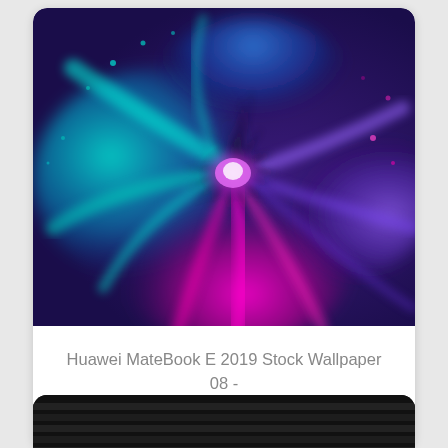[Figure (photo): Colorful powder explosion on dark purple background — cyan, blue, magenta, and purple powder bursting outward from a central point]
Huawei MateBook E 2019 Stock Wallpaper 08 - [2160x1440]
[Figure (photo): Partial view of a dark card with horizontal black stripes at the bottom of the page]